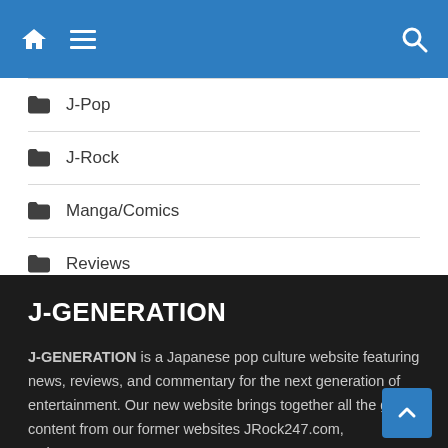Navigation bar with home, menu, and search icons
J-Pop
J-Rock
Manga/Comics
Reviews
TV/Film
J-GENERATION
J-GENERATION is a Japanese pop culture website featuring news, reviews, and commentary for the next generation of entertainment. Our new website brings together all the great content from our former websites JRock247.com, NekoPOP.com